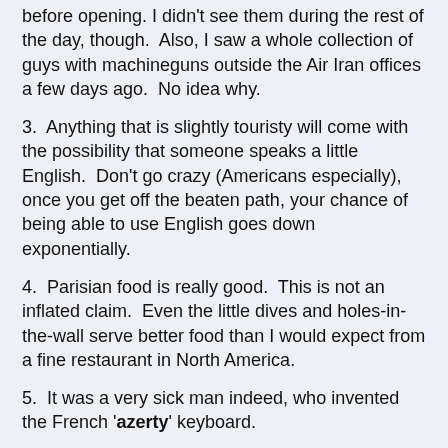before opening. I didn't see them during the rest of the day, though.  Also, I saw a whole collection of guys with machineguns outside the Air Iran offices a few days ago.  No idea why.
3.  Anything that is slightly touristy will come with the possibility that someone speaks a little English.  Don't go crazy (Americans especially), once you get off the beaten path, your chance of being able to use English goes down exponentially.
4.  Parisian food is really good.  This is not an inflated claim.  Even the little dives and holes-in-the-wall serve better food than I would expect from a fine restaurant in North America.
5.  It was a very sick man indeed, who invented the French 'azerty' keyboard.
[Figure (photo): Photo of a French AZERTY keyboard lying on a wooden table, with a wine glass visible in the background and a person's hand partially visible at the right edge.]